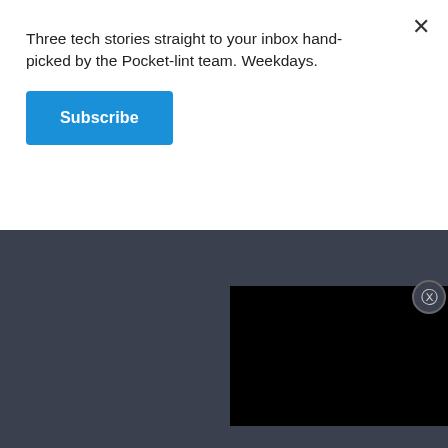Three tech stories straight to your inbox hand-picked by the Pocket-lint team. Weekdays.
Subscribe
we may earn an affiliate commission. Learn more
Home> Games> Game news> PlayStation game news
Everything to know about the PS5 DualSense Edge controller: Features, battery, thumbsticks and more
Max Freeman-Mills, Contributing editor · 5 September 2022 · Explainer